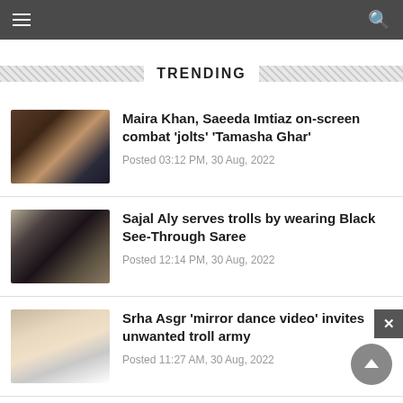Navigation bar with menu and search icons
TRENDING
[Figure (photo): Photo collage of Maira Khan and Saeeda Imtiaz]
Maira Khan, Saeeda Imtiaz on-screen combat 'jolts' 'Tamasha Ghar'
Posted 03:12 PM, 30 Aug, 2022
[Figure (photo): Photo of Sajal Aly in a black saree]
Sajal Aly serves trolls by wearing Black See-Through Saree
Posted 12:14 PM, 30 Aug, 2022
[Figure (photo): Selfie photo of Srha Asgr smiling]
Srha Asgr 'mirror dance video' invites unwanted troll army
Posted 11:27 AM, 30 Aug, 2022